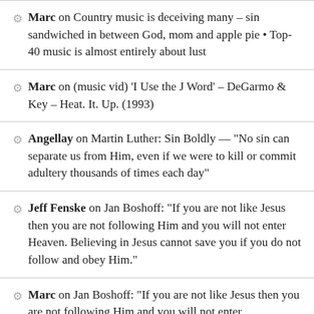Marc on Country music is deceiving many – sin sandwiched in between God, mom and apple pie • Top-40 music is almost entirely about lust
Marc on (music vid) 'I Use the J Word' – DeGarmo & Key – Heat. It. Up. (1993)
Angellay on Martin Luther: Sin Boldly — "No sin can separate us from Him, even if we were to kill or commit adultery thousands of times each day"
Jeff Fenske on Jan Boshoff: "If you are not like Jesus then you are not following Him and you will not enter Heaven. Believing in Jesus cannot save you if you do not follow and obey Him."
Marc on Jan Boshoff: "If you are not like Jesus then you are not following Him and you will not enter